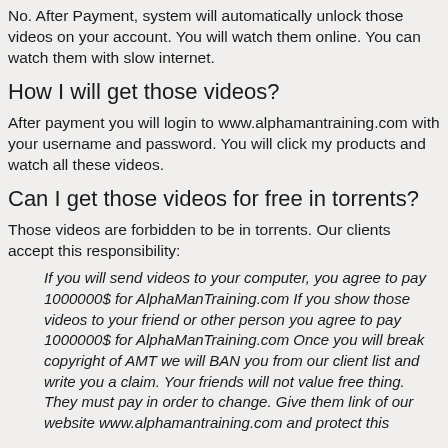No. After Payment, system will automatically unlock those videos on your account. You will watch them online. You can watch them with slow internet.
How I will get those videos?
After payment you will login to www.alphamantraining.com with your username and password. You will click my products and watch all these videos.
Can I get those videos for free in torrents?
Those videos are forbidden to be in torrents. Our clients accept this responsibility:
If you will send videos to your computer, you agree to pay 1000000$ for AlphaManTraining.com If you show those videos to your friend or other person you agree to pay 1000000$ for AlphaManTraining.com Once you will break copyright of AMT we will BAN you from our client list and write you a claim. Your friends will not value free thing. They must pay in order to change. Give them link of our website www.alphamantraining.com and protect this